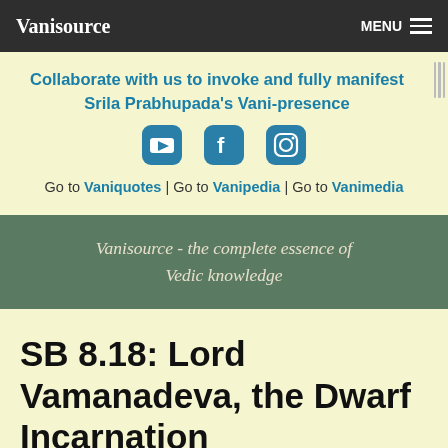Vanisource    MENU
Collaborate with us to invoke and fully manifest Srila Prabhupada's Vani-presence
[Figure (infographic): Three social media icons: YouTube, Facebook, Instagram]
Go to Vaniquotes | Go to Vanipedia | Go to Vanimedia
Vanisource - the complete essence of Vedic knowledge
SB 8.18: Lord Vamanadeva, the Dwarf Incarnation